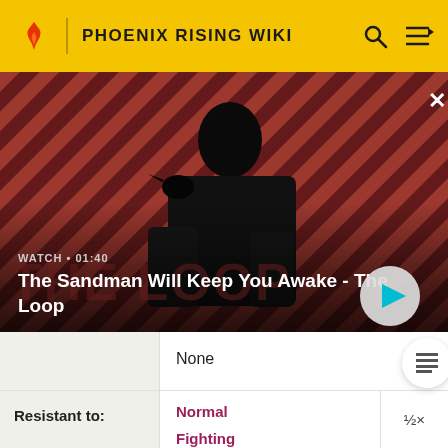PHOENIX RISING WIKI
[Figure (screenshot): Video thumbnail showing a dark-cloaked figure with a raven on their shoulder against a red striped background. Text overlay: 'WATCH • 01:40' and title 'The Sandman Will Keep You Awake - The Loop' with a play button.]
None
| Resistant to: | Type | Multiplier |
| --- | --- | --- |
| Resistant to: | Normal | ½× |
|  | Fighting | 2× |